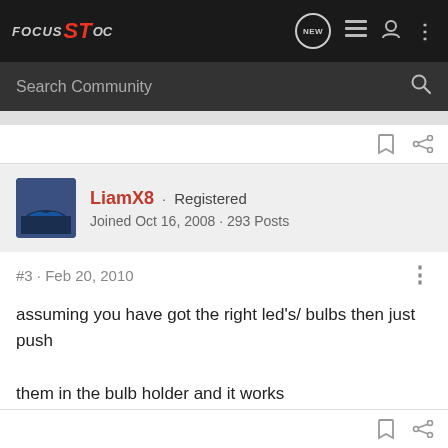Focus ST OC
Search Community
LiamX8 · Registered
Joined Oct 16, 2008 · 293 Posts
#3 · Feb 20, 2010
assuming you have got the right led's/ bulbs then just push

them in the bulb holder and it works